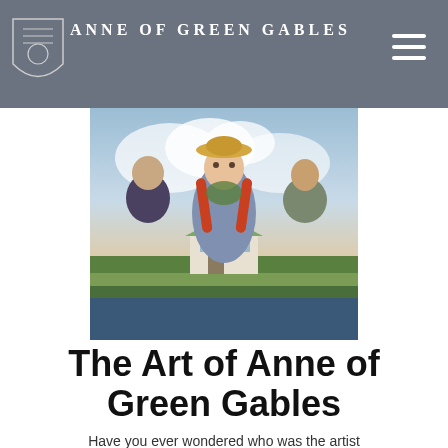Anne of Green Gables
[Figure (illustration): Movie poster style painting of Anne of Green Gables: a red-haired girl with braids and a straw hat in the foreground, two adult figures behind her (woman on left, man on right), and a white farmhouse in a green field below a dramatic sky.]
The Art of Anne of Green Gables
Have you ever wondered who was the artist